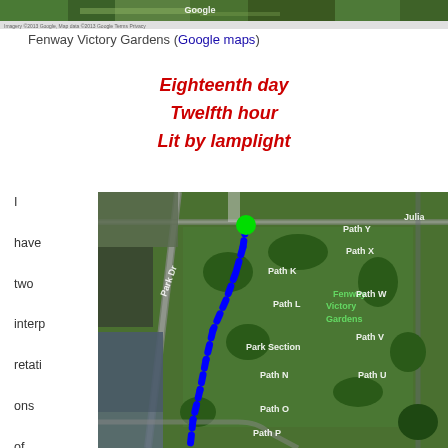[Figure (photo): Google Maps aerial/satellite view of Fenway Victory Gardens area, top strip]
Fenway Victory Gardens (Google maps)
Eighteenth day
Twelfth hour
Lit by lamplight
I have two interpretations of this phrase,
[Figure (map): Google Maps satellite view of Fenway Victory Gardens with blue dotted path line overlaid and green dot marker. Shows Park Dr, Path K, Path L, Path N, Path O, Path P, Path V, Path U, Path W, Path X, Path Y, Park Section, Fenway Victory Gardens, Julia labels. Blue dotted trail runs from north-center down through the park. Green dot at northern end of trail.]